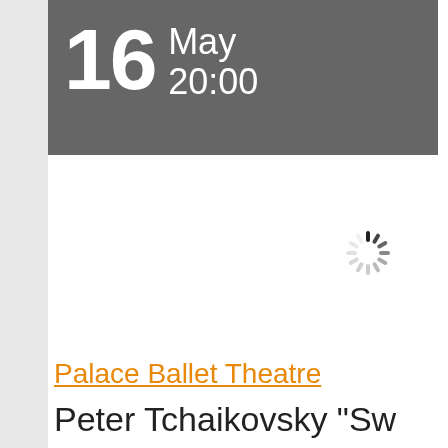16 May 20:00
[Figure (other): Loading spinner icon (circular dashed loading indicator)]
Palace Ballet Theatre
Peter Tchaikovsky "Sw